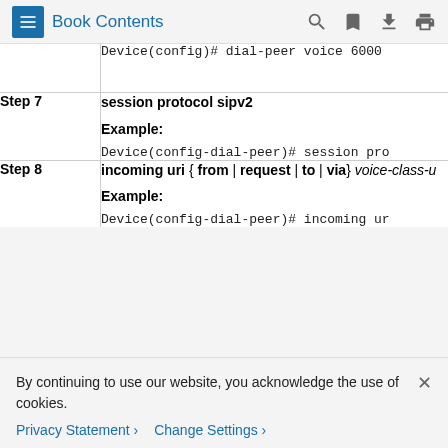Book Contents
| Step | Command/Description |
| --- | --- |
|  | Device(config)# dial-peer voice 6000 |
| Step 7 | session protocol sipv2
Example:
Device(config-dial-peer)# session pro |
| Step 8 | incoming uri { from | request | to | via} voice-class-u
Example:
Device(config-dial-peer)# incoming ur |
By continuing to use our website, you acknowledge the use of cookies.
Privacy Statement › Change Settings ›